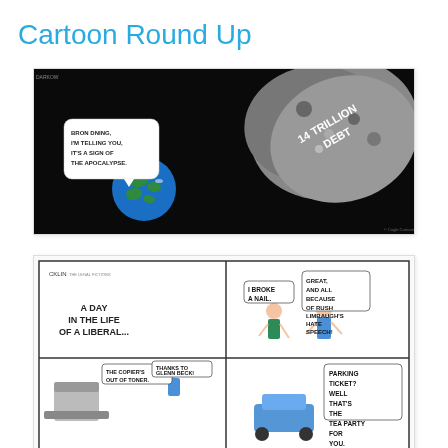Cartoon Round Up
[Figure (illustration): Political cartoon showing Earth in space with a speech bubble saying 'BRON DNING, I'M TELLING YOU, IT'S A SIGN OF THE APOCALYPSE.' A large asteroid labeled '14 TRILLION DEBT' is approaching Earth from the right.]
[Figure (illustration): Four-panel comic strip titled 'A Day in the Life of a Liberal...' Panel 1: Title panel. Panel 2: Woman says 'I BROKE A NAIL.' Man responds 'GREAT, AND ALL BECAUSE OF RUSH LIMBAUGH'S HATE SPEECH!' Panel 3: 'THE COPIER'S OUT OF TONER. THANKS TO GLENN BECK!' Panel 4: 'PARKING TICKET? WELL THAT'S THE TEA PARTY FOR YOU.']